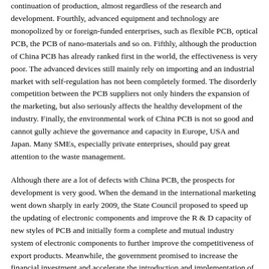continuation of production, almost regardless of the research and development. Fourthly, advanced equipment and technology are monopolized by or foreign-funded enterprises, such as flexible PCB, optical PCB, the PCB of nano-materials and so on. Fifthly, although the production of China PCB has already ranked first in the world, the effectiveness is very poor. The advanced devices still mainly rely on importing and an industrial market with self-regulation has not been completely formed. The disorderly competition between the PCB suppliers not only hinders the expansion of the marketing, but also seriously affects the healthy development of the industry. Finally, the environmental work of China PCB is not so good and cannot gully achieve the governance and capacity in Europe, USA and Japan. Many SMEs, especially private enterprises, should pay great attention to the waste management.
Although there are a lot of defects with China PCB, the prospects for development is very good. When the demand in the international marketing went down sharply in early 2009, the State Council proposed to speed up the updating of electronic components and improve the R & D capacity of new styles of PCB and initially form a complete and mutual industry system of electronic components to further improve the competitiveness of export products. Meanwhile, the government promised to increase the financial investment and accelerate the introduction and implementation of fiscal support policies and